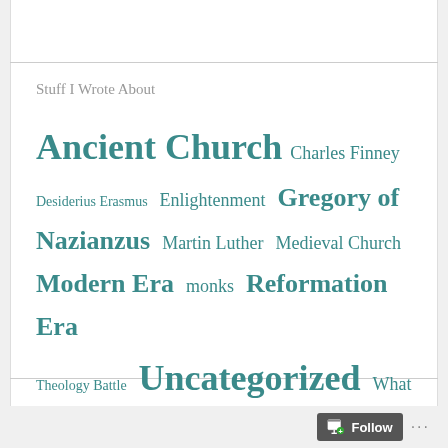Stuff I Wrote About
Ancient Church
Charles Finney
Desiderius Erasmus
Enlightenment
Gregory of Nazianzus
Martin Luther
Medieval Church
Modern Era
monks
Reformation Era
Theology Battle
Uncategorized
What is the Church?
BLOG AT WORDPRESS.COM.